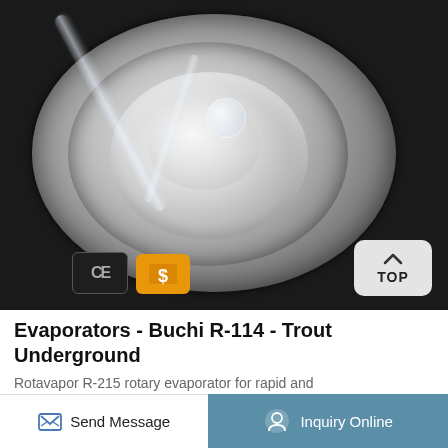[Figure (photo): Top-down view of a Buchi R-114 rotary evaporator showing the glass flask and condenser assembly with circular heating bath, viewed from above against a dark background. CE certification and Alibaba supplier badges visible at bottom. 'TOP' button in bottom right corner.]
Evaporators - Buchi R-114 - Trout Underground
Rotavapor R-215 rotary evaporator for rapid and
Send Message
Inquiry Online